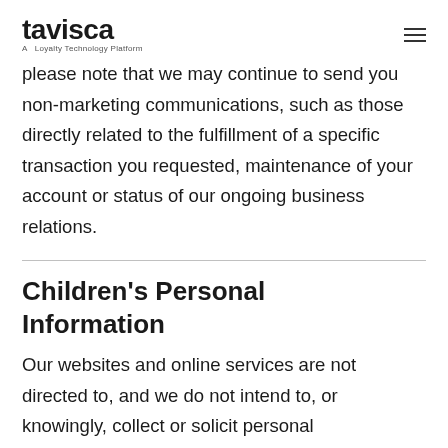tavisca — A Loyalty Technology Platform
please note that we may continue to send you non-marketing communications, such as those directly related to the fulfillment of a specific transaction you requested, maintenance of your account or status of our ongoing business relations.
Children's Personal Information
Our websites and online services are not directed to, and we do not intend to, or knowingly, collect or solicit personal